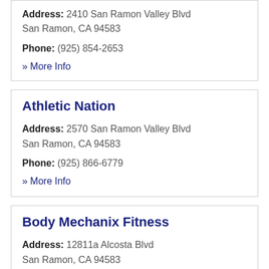Address: 2410 San Ramon Valley Blvd San Ramon, CA 94583
Phone: (925) 854-2653
» More Info
Athletic Nation
Address: 2570 San Ramon Valley Blvd San Ramon, CA 94583
Phone: (925) 866-6779
» More Info
Body Mechanix Fitness
Address: 12811a Alcosta Blvd San Ramon, CA 94583